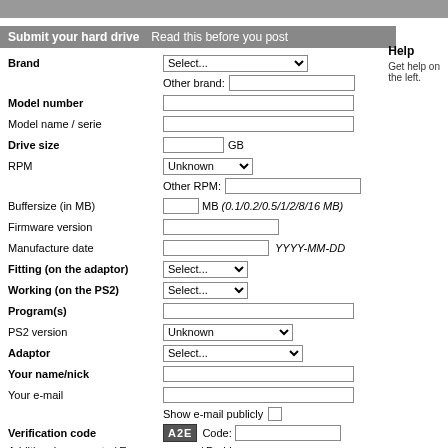Submit your hard drive   Read this before you post   Help
Get help on the left.
Brand | Model number | Model name / serie | Drive size | RPM | Buffersize (in MB) | Firmware version | Manufacture date | Fitting (on the adaptor) | Working (on the PS2) | Program(s) | PS2 version | Adaptor | Your name/nick | Your e-mail | Show e-mail publicly | Verification code | Additional comments / Error messages / Problems
* BOLD = Required